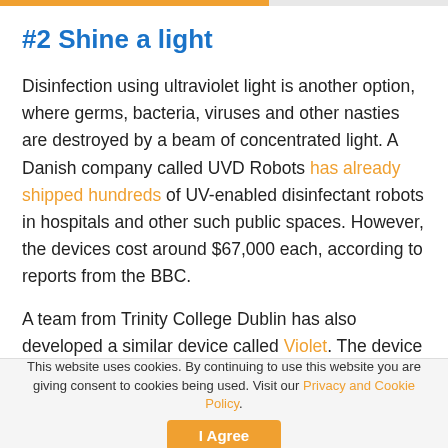#2 Shine a light
Disinfection using ultraviolet light is another option, where germs, bacteria, viruses and other nasties are destroyed by a beam of concentrated light. A Danish company called UVD Robots has already shipped hundreds of UV-enabled disinfectant robots in hospitals and other such public spaces. However, the devices cost around $67,000 each, according to reports from the BBC.
A team from Trinity College Dublin has also developed a similar device called Violet. The device is still in the prototype stages, but a recent report in Time magazine claims the team are “focused on making Violet portable
This website uses cookies. By continuing to use this website you are giving consent to cookies being used. Visit our Privacy and Cookie Policy.  I Agree